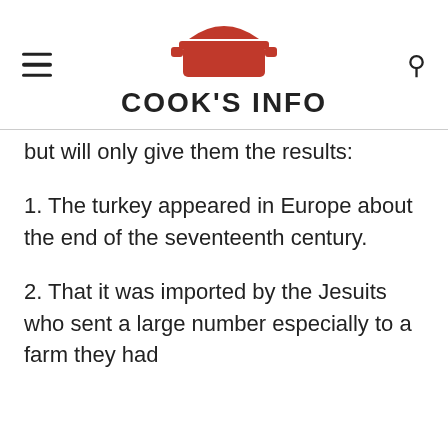COOK'S INFO
but will only give them the results:
1. The turkey appeared in Europe about the end of the seventeenth century.
2. That it was imported by the Jesuits who sent a large number especially to a farm they had